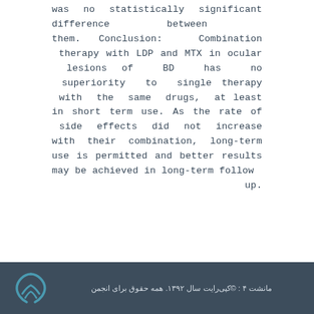was no statistically significant difference between them. Conclusion: Combination therapy with LDP and MTX in ocular lesions of BD has no superiority to single therapy with the same drugs, at least in short term use. As the rate of side effects did not increase with their combination, long-term use is permitted and better results may be achieved in long-term follow up.
مانشت ۴ : ©کپی‌رایت سال ۱۳۹۲. همه حقوق برای انجمن